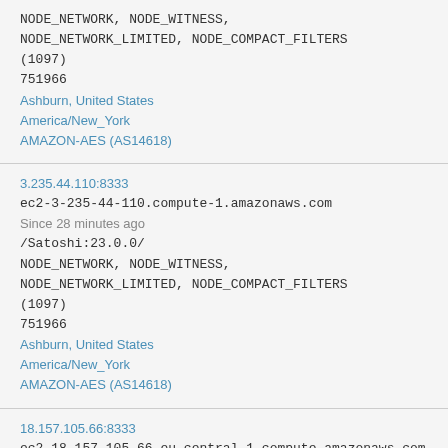NODE_NETWORK, NODE_WITNESS, NODE_NETWORK_LIMITED, NODE_COMPACT_FILTERS (1097)
751966
Ashburn, United States
America/New_York
AMAZON-AES (AS14618)
3.235.44.110:8333
ec2-3-235-44-110.compute-1.amazonaws.com
Since 28 minutes ago
/Satoshi:23.0.0/
NODE_NETWORK, NODE_WITNESS, NODE_NETWORK_LIMITED, NODE_COMPACT_FILTERS (1097)
751966
Ashburn, United States
America/New_York
AMAZON-AES (AS14618)
18.157.105.66:8333
ec2-18-157-105-66.eu-central-1.compute.amazonaws.com
Since an hour ago